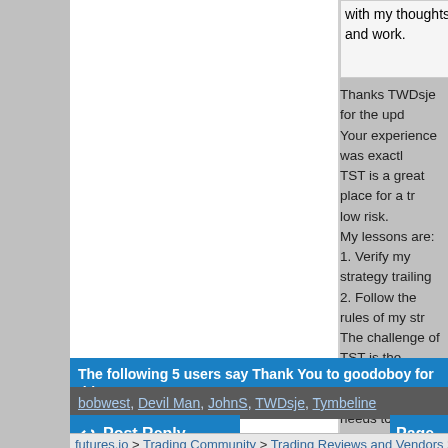with my thoughts and work.
Thanks TWDsje for the upd... Your experience was exactly... TST is a great place for a tr... low risk.
My lessons are:
1. Verify my strategy trailing...
2. Follow the rules of my str...
The challenge of TST is the... with $2K drawdown over X... needs to align. For example... chop chop. Just my opinion...
If the strategy hits the draw... stopped cause like you I did... it. I encourage all newbies t...
The following 5 users say Thank You to goodoboy for this post:
bobwest, Devil Man, JohnS, TWDsje, Tymbeline
Post Reply
futures.io > Trading Community > Trading Reviews and Vendors > Anybody b...